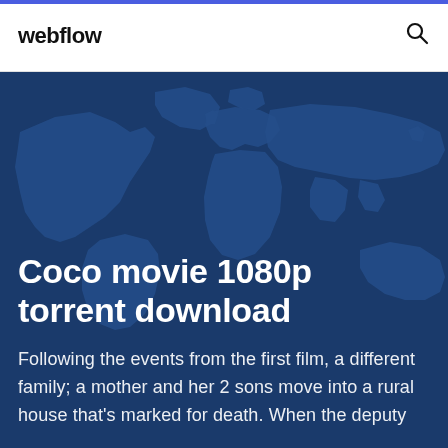webflow
Coco movie 1080p torrent download
Following the events from the first film, a different family; a mother and her 2 sons move into a rural house that's marked for death. When the deputy